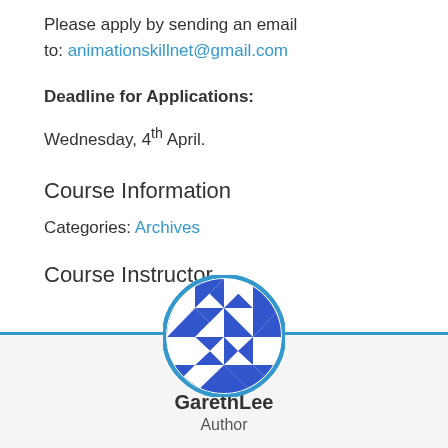Please apply by sending an email to: animationskillnet@gmail.com
Deadline for Applications:
Wednesday, 4th April.
Course Information
Categories: Archives
Course Instructor
[Figure (illustration): Circular avatar with blue and white geometric quilt/diamond pattern, representing the instructor GarethLee]
GarethLee
Author